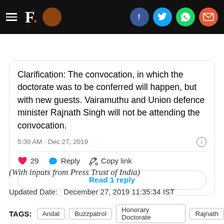F. [social share icons: Facebook, Twitter, WhatsApp, Email]
Clarification: The convocation, in which the doctorate was to be conferred will happen, but with new guests. Vairamuthu and Union defence minister Rajnath Singh will not be attending the convocation.
5:30 AM · Dec 27, 2019
29  Reply  Copy link
Read 1 reply
(With inputs from Press Trust of India)
Updated Date:   December 27, 2019 11:35:34 IST
TAGS:  Andal  Buzzpatrol  Honorary Doctorate  Rajnath